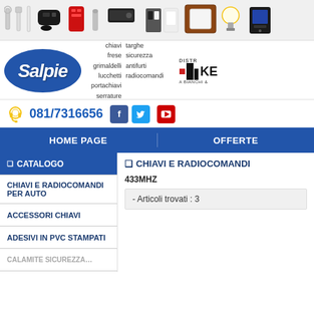[Figure (photo): Horizontal strip of product photos: keys, car remote, red key fob, cylindrical key, folded knife, electrical switches, wall plate frame, light bulb, and another device]
[Figure (logo): Salpie logo (blue oval with white italic text)]
chiavi frese grimaldelli lucchetti portachiavi serrature targhe sicurezza antifurti radiocomandi
[Figure (logo): Keyline distributor logo with red square, black bars, KE letters, and A BIANCHI text]
081/7316656
[Figure (illustration): Facebook icon (blue rounded square with F)]
[Figure (illustration): Twitter icon (light blue rounded square with bird)]
[Figure (illustration): YouTube icon (red rounded square with play button)]
HOME PAGE
OFFERTE
✦ CATALOGO
✦ CHIAVI E RADIOCOMANDI
CHIAVI E RADIOCOMANDI PER AUTO
433MHZ
ACCESSORI CHIAVI
- Articoli trovati : 3
ADESIVI IN PVC STAMPATI